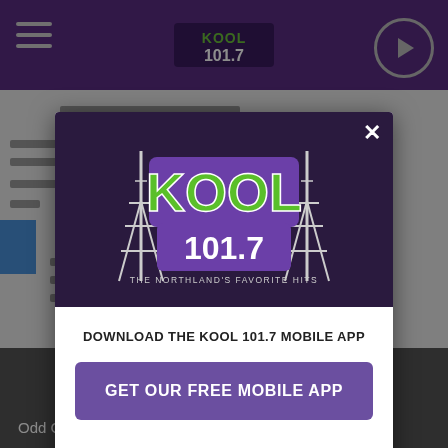[Figure (screenshot): KOOL 101.7 radio station website screenshot with purple navigation bar showing hamburger menu, KOOL 101.7 logo, and play button]
[Figure (logo): KOOL 101.7 radio station logo with green text on purple background, antenna tower graphics, tagline: THE NORTHLAND'S FAVORITE HITS]
DOWNLOAD THE KOOL 101.7 MOBILE APP
GET OUR FREE MOBILE APP
Also listen on:  amazon alexa
Sponsored
Odd Couples: David Bowie and J...